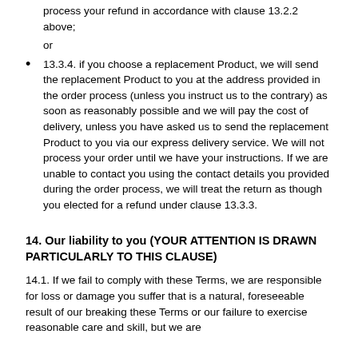process your refund in accordance with clause 13.2.2 above; or
13.3.4. if you choose a replacement Product, we will send the replacement Product to you at the address provided in the order process (unless you instruct us to the contrary) as soon as reasonably possible and we will pay the cost of delivery, unless you have asked us to send the replacement Product to you via our express delivery service. We will not process your order until we have your instructions. If we are unable to contact you using the contact details you provided during the order process, we will treat the return as though you elected for a refund under clause 13.3.3.
14. Our liability to you (YOUR ATTENTION IS DRAWN PARTICULARLY TO THIS CLAUSE)
14.1. If we fail to comply with these Terms, we are responsible for loss or damage you suffer that is a natural, foreseeable result of our breaking these Terms or our failure to exercise reasonable care and skill, but we are